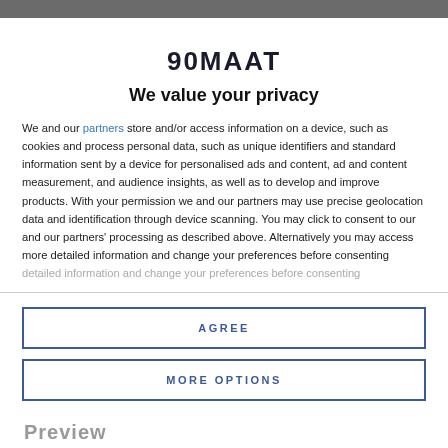90MAAT
We value your privacy
We and our partners store and/or access information on a device, such as cookies and process personal data, such as unique identifiers and standard information sent by a device for personalised ads and content, ad and content measurement, and audience insights, as well as to develop and improve products. With your permission we and our partners may use precise geolocation data and identification through device scanning. You may click to consent to our and our partners' processing as described above. Alternatively you may access more detailed information and change your preferences before consenting
AGREE
MORE OPTIONS
Preview